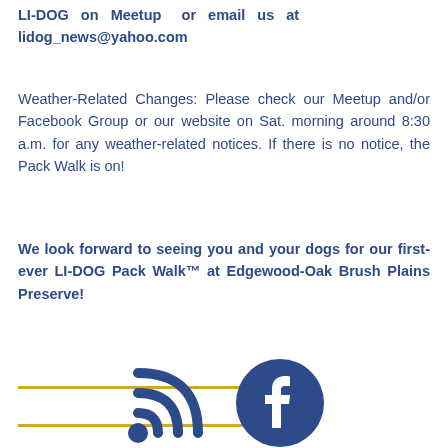LI-DOG on Meetup or email us at lidog_news@yahoo.com
Weather-Related Changes: Please check our Meetup and/or Facebook Group or our website on Sat. morning around 8:30 a.m. for any weather-related notices. If there is no notice, the Pack Walk is on!
We look forward to seeing you and your dogs for our first-ever LI-DOG Pack Walk™ at Edgewood-Oak Brush Plains Preserve!
[Figure (illustration): RSS feed icon and Facebook icon at the bottom of the page]